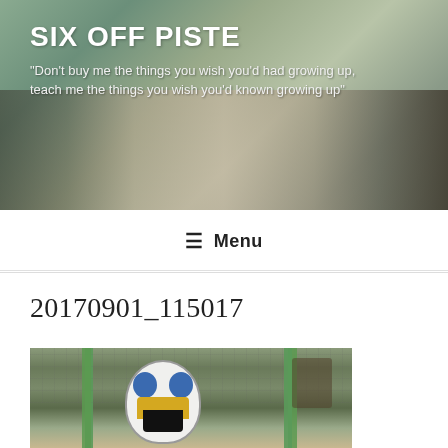SIX OFF PISTE
"Don't buy me the things you wish you'd had growing up, teach me the things you wish you'd known growing up"
20170901_115017
[Figure (photo): Child holding a blue and white bird mask in front of their face, standing in front of a wire mesh fence with green poles, likely at a zoo or aviary]